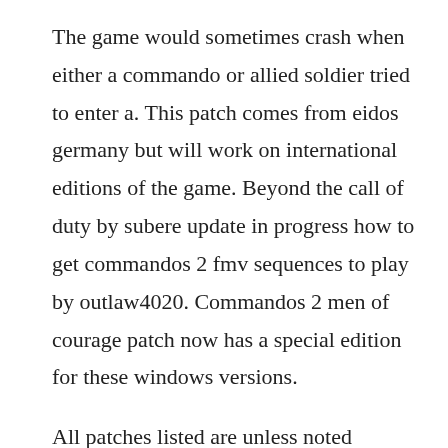The game would sometimes crash when either a commando or allied soldier tried to enter a. This patch comes from eidos germany but will work on international editions of the game. Beyond the call of duty by subere update in progress how to get commandos 2 fmv sequences to play by outlaw4020. Commandos 2 men of courage patch now has a special edition for these windows versions.
All patches listed are unless noted otherwise cumulative and can be used on any prior version of the game. Take control of an elite